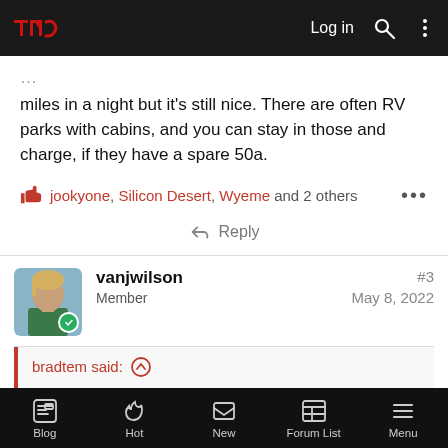TMC | Log in
miles in a night but it's still nice. There are often RV parks with cabins, and you can stay in those and charge, if they have a spare 50a.
jookyone, Silicon Desert, Wyeme and 2 others
Reply
vanjwilson
Member
#3
May 8, 2022
bradtem said: ...
...